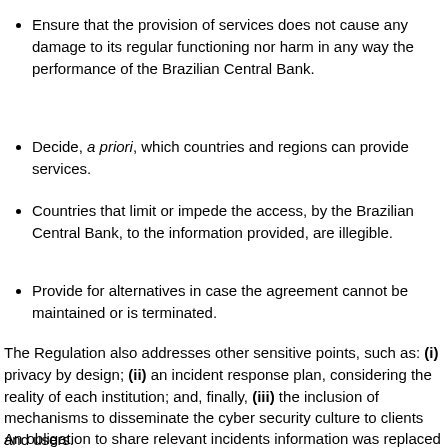Ensure that the provision of services does not cause any damage to its regular functioning nor harm in any way the performance of the Brazilian Central Bank.
Decide, a priori, which countries and regions can provide services.
Countries that limit or impede the access, by the Brazilian Central Bank, to the information provided, are illegible.
Provide for alternatives in case the agreement cannot be maintained or is terminated.
The Regulation also addresses other sensitive points, such as: (i) privacy by design; (ii) an incident response plan, considering the reality of each institution; and, finally, (iii) the inclusion of mechanisms to disseminate the cyber security culture to clients and users.
An obligation to share relevant incidents information was replaced by a